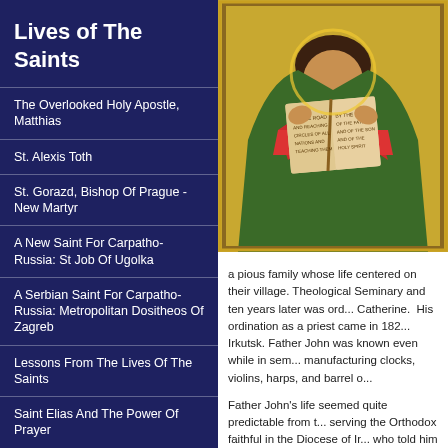Lives of The Saints
The Overlooked Holy Apostle, Matthias
St. Alexis Toth
St. Gorazd, Bishop Of Prague -New Martyr
A New Saint For Carpatho-Russia: St Job Of Ugolka
A Serbian Saint For Carpatho-Russia: Metropolitan Dositheos Of Zagreb
Lessons From The Lives Of The Saints
Saint Elias And The Power Of Prayer
St. Maria Skobtsova Of Paris
Elder Paisios Of Mount
[Figure (illustration): Orthodox icon painting of a saint holding an open book, wearing green and red robes, on a gold background]
a pious family whose life centered on their village. Theological Seminary and ten years later was ordained at Catherine. His ordination as a priest came in 182... Irkutsk. Father John was known even while in seminary manufacturing clocks, violins, harps, and barrel o...
Father John's life seemed quite predictable from t... serving the Orthodox faithful in the Diocese of Ir... who told him stories of the missionary opportunit... their openness to the Gospel. Father John later w...